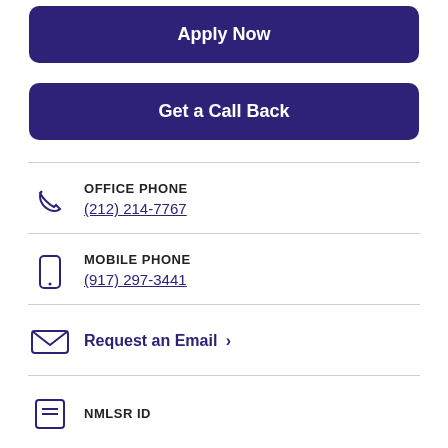Apply Now
Get a Call Back
OFFICE PHONE
(212) 214-7767
MOBILE PHONE
(917) 297-3441
Request an Email >
NMLSR ID